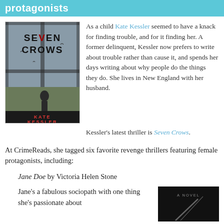protagonists
[Figure (illustration): Book cover of 'Seven Crows' by Kate Kessler — dark atmospheric cover with window grid overlay, silhouetted figure in landscape. Title in bold black, author name in red at bottom.]
As a child Kate Kessler seemed to have a knack for finding trouble, and for it finding her. A former delinquent, Kessler now prefers to write about trouble rather than cause it, and spends her days writing about why people do the things they do. She lives in New England with her husband.
Kessler's latest thriller is Seven Crows.
At CrimeReads, she tagged six favorite revenge thrillers featuring female protagonists, including:
Jane Doe by Victoria Helen Stone
Jane's a fabulous sociopath with one thing she's passionate about...
[Figure (photo): Dark book cover with 'A NOVEL' text and a diagonal line element, mostly black background.]